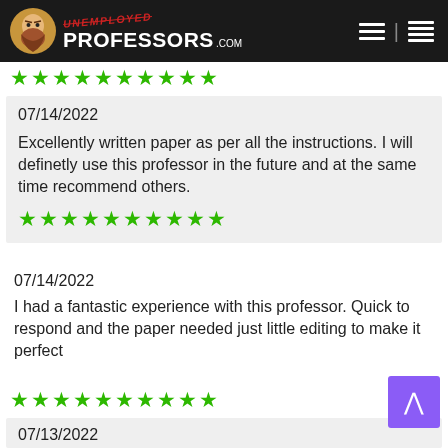UNEMPLOYED PROFESSORS.com
[Figure (other): 10 green stars rating row]
07/14/2022
Excellently written paper as per all the instructions. I will definetly use this professor in the future and at the same time recommend others.
[Figure (other): 10 green stars rating row]
07/14/2022
I had a fantastic experience with this professor. Quick to respond and the paper needed just little editing to make it perfect
[Figure (other): 10 green stars rating row]
07/13/2022